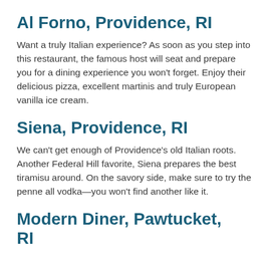Al Forno, Providence, RI
Want a truly Italian experience? As soon as you step into this restaurant, the famous host will seat and prepare you for a dining experience you won't forget. Enjoy their delicious pizza, excellent martinis and truly European vanilla ice cream.
Siena, Providence, RI
We can't get enough of Providence's old Italian roots. Another Federal Hill favorite, Siena prepares the best tiramisu around. On the savory side, make sure to try the penne all vodka—you won't find another like it.
Modern Diner, Pawtucket, RI